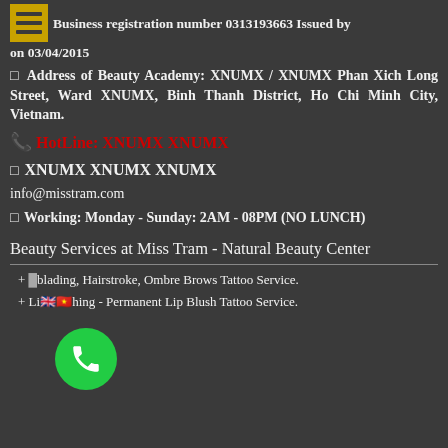Business registration number 0313193663 Issued by on 03/04/2015
Address of Beauty Academy: XNUMX / XNUMX Phan Xich Long Street, Ward XNUMX, Binh Thanh District, Ho Chi Minh City, Vietnam.
HotLine: XNUMX XNUMX
XNUMX XNUMX XNUMX
info@misstram.com
Working: Monday - Sunday: 2AM - 08PM (NO LUNCH)
Beauty Services at Miss Tram - Natural Beauty Center
+ Microblading, Hairstroke, Ombre Brows Tattoo Service.
+ Lip Shading - Permanent Lip Blush Tattoo Service.